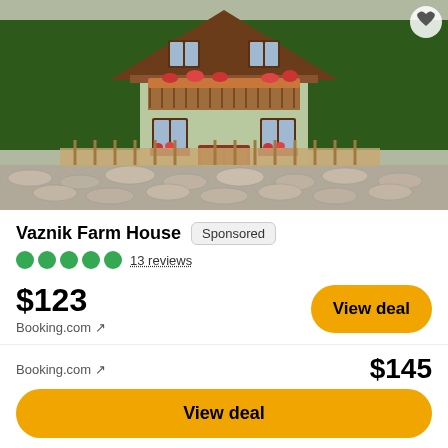[Figure (photo): Exterior photo of Vaznik Farm House — a light green Alpine-style farmhouse with a wood balcony decorated with red flowers, dark-framed windows, and a pitched brown roof, surrounded by dense green forest. A rustic wooden fence and a stone wall are visible in the foreground.]
Vaznik Farm House
Sponsored
13 reviews
$123
Booking.com ↗
View deal
✓  Reserve now, pay at stay
View all 5 deals from $123
Booking.com ↗
$145
View deal